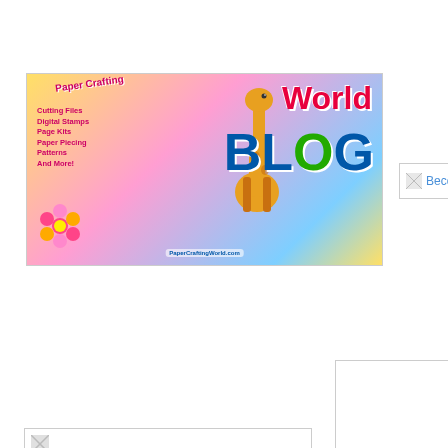[Figure (logo): Paper Crafting World Blog banner with colorful graphic, giraffe, flowers, and text]
[Figure (logo): BeccysPlace broken image placeholder with text link]
[Figure (logo): Digital Delights by Louby Loo text image placeholder]
[Figure (photo): Left middle broken image placeholder]
[Figure (photo): Center warning triangle image placeholder (Photobucket deleted image)]
[Figure (logo): Photobucket broken image placeholder with text link]
[Figure (photo): Bottom left partial image placeholder]